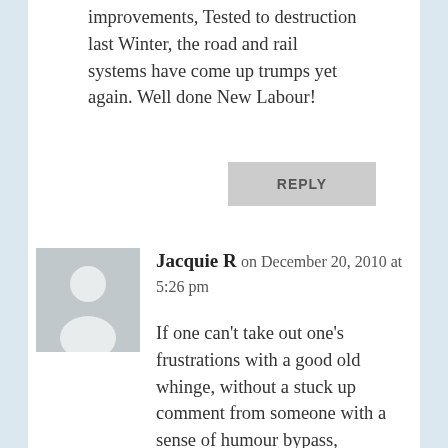improvements, Tested to destruction last Winter, the road and rail systems have come up trumps yet again. Well done New Labour!
REPLY
[Figure (illustration): Generic grey avatar placeholder showing silhouette of a person]
Jacquie R on December 20, 2010 at 5:26 pm
If one can't take out one's frustrations with a good old whinge, without a stuck up comment from someone with a sense of humour bypass,